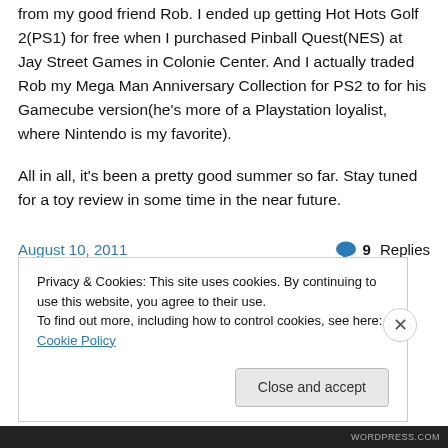from my good friend Rob.  I ended up getting Hot Hots Golf 2(PS1) for free when I purchased Pinball Quest(NES) at Jay Street Games in Colonie Center.  And I actually traded Rob my Mega Man Anniversary Collection for PS2 to for his Gamecube version(he's more of a Playstation loyalist, where Nintendo is my favorite).
All in all, it's been a pretty good summer so far.  Stay tuned for a toy review in some time in the near future.
August 10, 2011    9 Replies
Privacy & Cookies: This site uses cookies. By continuing to use this website, you agree to their use.
To find out more, including how to control cookies, see here: Cookie Policy
Close and accept